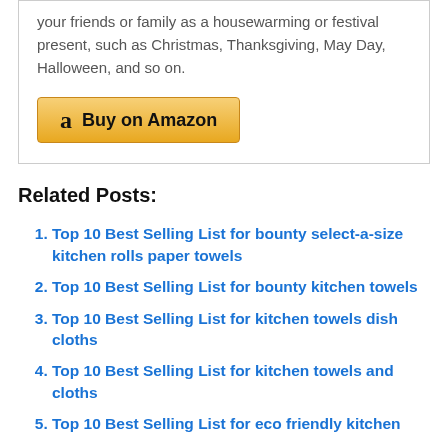your friends or family as a housewarming or festival present, such as Christmas, Thanksgiving, May Day, Halloween, and so on.
Buy on Amazon
Related Posts:
Top 10 Best Selling List for bounty select-a-size kitchen rolls paper towels
Top 10 Best Selling List for bounty kitchen towels
Top 10 Best Selling List for kitchen towels dish cloths
Top 10 Best Selling List for kitchen towels and cloths
Top 10 Best Selling List for eco friendly kitchen